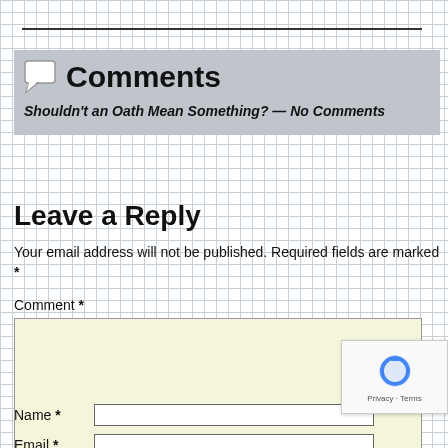Comments
Shouldn't an Oath Mean Something? — No Comments
Leave a Reply
Your email address will not be published. Required fields are marked *
Comment *
Name *
Email *